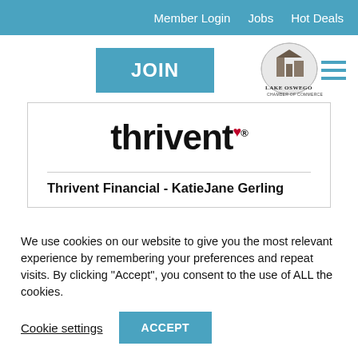Member Login   Jobs   Hot Deals
[Figure (logo): JOIN button (teal background) and Lake Oswego Chamber of Commerce logo with building image and horizontal lines]
[Figure (logo): Thrivent logo in large bold black text with red heart above the t and registered trademark symbol]
Thrivent Financial - KatieJane Gerling
We use cookies on our website to give you the most relevant experience by remembering your preferences and repeat visits. By clicking "Accept", you consent to the use of ALL the cookies.
Cookie settings   ACCEPT